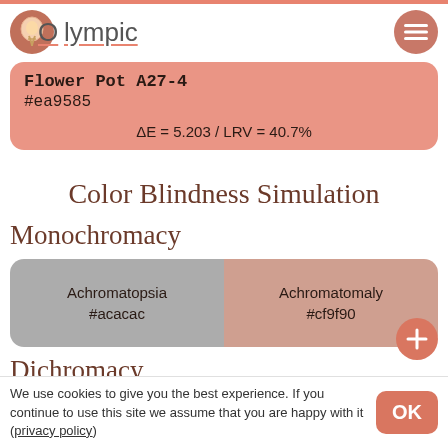Olympic
Flower Pot A27-4
#ea9585
ΔE = 5.203 / LRV = 40.7%
Color Blindness Simulation
Monochromacy
| Achromatopsia | Achromatomaly |
| --- | --- |
| #acacac | #cf9f90 |
Dichromacy
We use cookies to give you the best experience. If you continue to use this site we assume that you are happy with it (privacy policy)